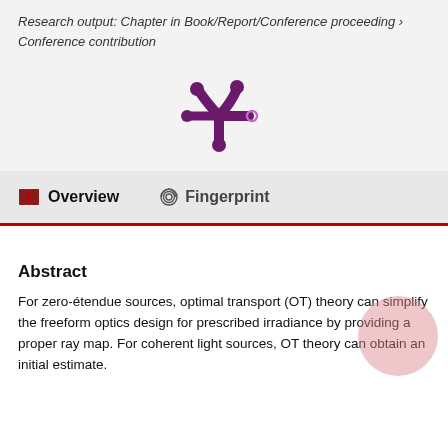Research output: Chapter in Book/Report/Conference proceeding › Conference contribution
[Figure (logo): Altmetric/ResearchGate-style asterisk/snowflake logo in dark purple with a small pink/purple circle on the right arm]
Overview   Fingerprint
Abstract
For zero-étendue sources, optimal transport (OT) theory can simplify the freeform optics design for prescribed irradiance by providing a proper ray map. For coherent light sources, OT theory can obtain an initial estimate.